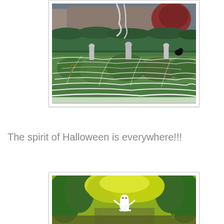[Figure (photo): Outdoor Halloween yard decoration scene showing a suburban home with hedges, fake spider webs covering low plants and ground, tombstone decorations in the grass, and hanging ghost figures. The front yard is decorated with white spiderweb material draped over green plants and garden beds.]
The spirit of Halloween is everywhere!!!
[Figure (photo): Outdoor Halloween scene with yellow-green autumn foliage trees lining a path. A small white ghost/skeleton figure decoration stands in the center of the path surrounded by fall trees with bright yellow and green leaves.]